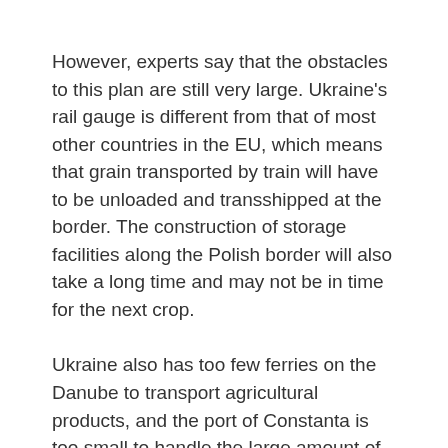However, experts say that the obstacles to this plan are still very large. Ukraine's rail gauge is different from that of most other countries in the EU, which means that grain transported by train will have to be unloaded and transshipped at the border. The construction of storage facilities along the Polish border will also take a long time and may not be in time for the next crop.
Ukraine also has too few ferries on the Danube to transport agricultural products, and the port of Constanta is too small to handle the large amount of food coming in from Ukraine.